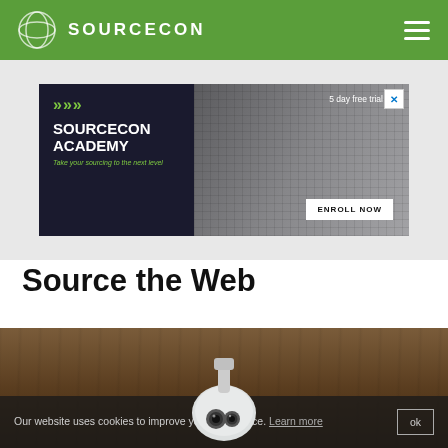SOURCECON
[Figure (screenshot): Advertisement banner for SourceCon Academy with chevrons, text 'SOURCECON ACADEMY Take your sourcing to the next level', '5 day free trial', and 'ENROLL NOW' button]
Source the Web
[Figure (photo): Photo of a white security camera on a wooden background]
Our website uses cookies to improve your experience. Learn more